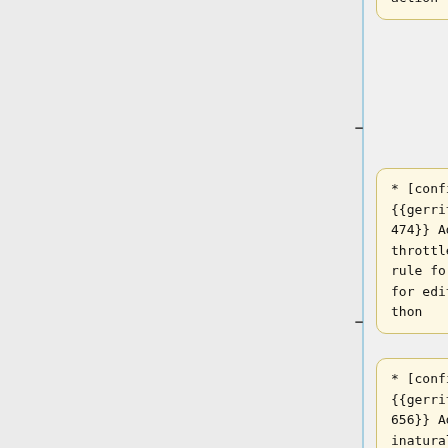ukwikivoyage: Enable block AbuseFilter action
* [config] {{gerrit|665474}} Add a throttle rule for for edit-a-thon
* [config] {{gerrit|665656}} Add inaturalist-open-data.s3.amazonaws.com to